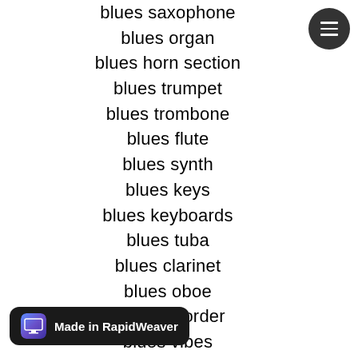blues saxophone
blues organ
blues horn section
blues trumpet
blues trombone
blues flute
blues synth
blues keys
blues keyboards
blues tuba
blues clarinet
blues oboe
blues recorder
blues vibes
blues cello
blues violin
[Figure (screenshot): Made in RapidWeaver badge at bottom left]
[Figure (other): Hamburger menu button (dark circle with three white lines) at top right]